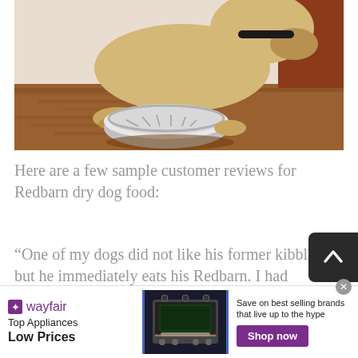[Figure (photo): A dog eating from a stainless steel bowl on a hardwood floor, viewed from slightly above. The dog appears to be a light-colored breed, hunched over the bowl.]
Here are a few sample customer reviews for Redbarn dry dog food:
“One of my dogs did not like his former kibble but he immediately eats his Redbarn. I had such a hard time finding a salmon based limited ingredient wit
[Figure (infographic): Wayfair advertisement banner. Shows Wayfair logo with purple star, text 'Top Appliances Low Prices', an image of a kitchen range/oven, and text 'Save on best selling brands that live up to the hype' with a purple 'Shop now' button.]